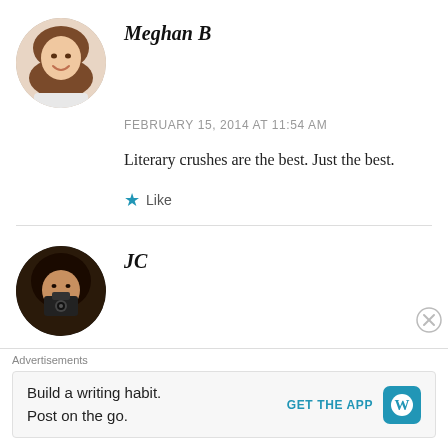[Figure (photo): Circular avatar of Meghan B, a smiling woman with long brown hair]
Meghan B
FEBRUARY 15, 2014 AT 11:54 AM
Literary crushes are the best. Just the best.
★ Like
[Figure (photo): Circular avatar of JC, a woman with curly dark hair holding a camera]
JC
FEBRUARY 15, 2014 AT 12:53 PM
If we're talking literary crushes, then it's all
Advertisements
Build a writing habit.
Post on the go.
GET THE APP